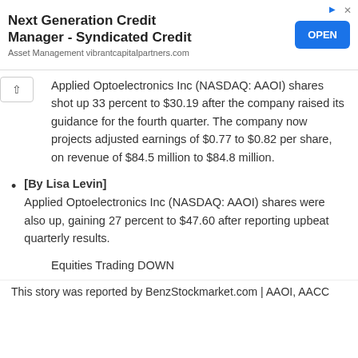[Figure (other): Advertisement banner: Next Generation Credit Manager - Syndicated Credit, Asset Management vibrantcapitalpartners.com, with OPEN button]
Applied Optoelectronics Inc (NASDAQ: AAOI) shares shot up 33 percent to $30.19 after the company raised its guidance for the fourth quarter. The company now projects adjusted earnings of $0.77 to $0.82 per share, on revenue of $84.5 million to $84.8 million.
[By Lisa Levin]
Applied Optoelectronics Inc (NASDAQ: AAOI) shares were also up, gaining 27 percent to $47.60 after reporting upbeat quarterly results.
Equities Trading DOWN
This story was reported by BenzStockmarket.com | AAOI, AACC